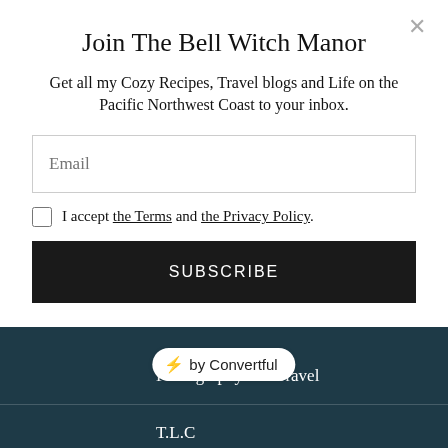Join The Bell Witch Manor
Get all my Cozy Recipes, Travel blogs and Life on the Pacific Northwest Coast to your inbox.
Email
I accept the Terms and the Privacy Policy.
SUBSCRIBE
[Figure (other): Convertful badge overlay with lightning bolt icon and text 'by Convertful']
Photography and Travel
T.L.C
the art of cozy
Uncategorized
What I'm loving